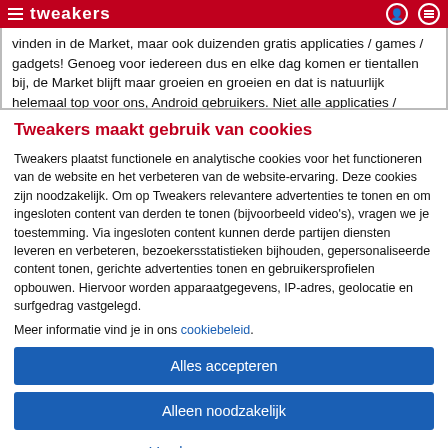Tweakers
vinden in de Market, maar ook duizenden gratis applicaties / games / gadgets! Genoeg voor iedereen dus en elke dag komen er tientallen bij, de Market blijft maar groeien en groeien en dat is natuurlijk helemaal top voor ons, Android gebruikers. Niet alle applicaties /
Tweakers maakt gebruik van cookies
Tweakers plaatst functionele en analytische cookies voor het functioneren van de website en het verbeteren van de website-ervaring. Deze cookies zijn noodzakelijk. Om op Tweakers relevantere advertenties te tonen en om ingesloten content van derden te tonen (bijvoorbeeld video's), vragen we je toestemming. Via ingesloten content kunnen derde partijen diensten leveren en verbeteren, bezoekersstatistieken bijhouden, gepersonaliseerde content tonen, gerichte advertenties tonen en gebruikersprofielen opbouwen. Hiervoor worden apparaatgegevens, IP-adres, geolocatie en surfgedrag vastgelegd.
Meer informatie vind je in ons cookiebeleid.
Alles accepteren
Alleen noodzakelijk
Voorkeuren aanpassen